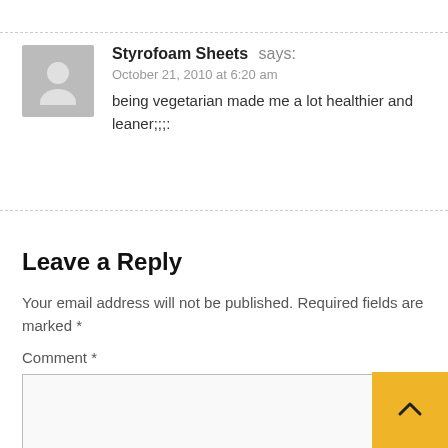Styrofoam Sheets says:
October 21, 2010 at 6:20 am
being vegetarian made me a lot healthier and leaner;;;:
Leave a Reply
Your email address will not be published. Required fields are marked *
Comment *